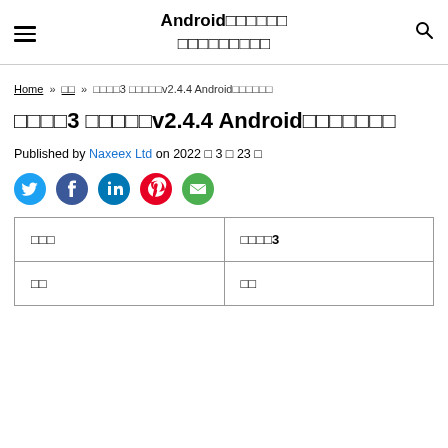Android□□□□□□ □□□□□□□□□
Home » □□ » □□□□3 □□□□□v2.4.4 Android□□□□□□
□□□□3 □□□□□v2.4.4 Android□□□□□□
Published by Naxeex Ltd on 2022 □ 3 □ 23 □
[Figure (infographic): Social share icons: Twitter, Facebook, LinkedIn, Pinterest, Email]
| □□□ | □□□□3 |
| □□ | □□ |